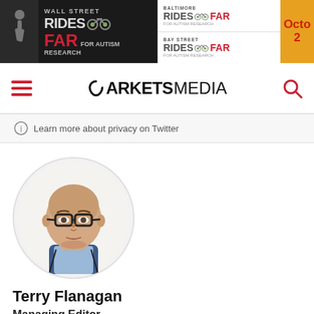[Figure (photo): Banner advertisement for Wall Street Rides FAR for Autism Research, Baltimore Rides FAR, and Bay Street Rides FAR events, with a partial date showing Octo[ber] 2[?]]
[Figure (logo): Markets Media logo with hamburger menu icon on left and search icon on right]
Learn more about privacy on Twitter
[Figure (photo): Circular portrait photo of Terry Flanagan, a bald man with glasses wearing a dark jacket]
Terry Flanagan
Managing Editor